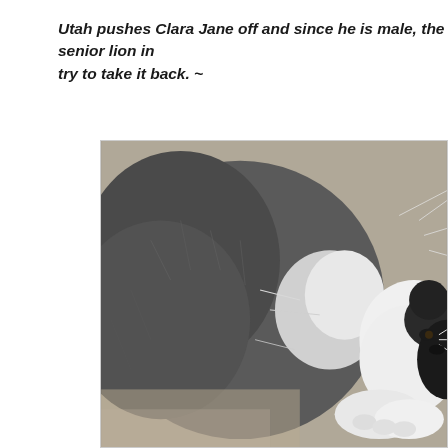Utah pushes Clara Jane off and since he is male, the senior lion in try to take it back. ~
[Figure (photo): Close-up photo of two cats lying together. A large gray/dark fluffy cat is in the foreground, with a smaller black and white cat snuggled against it. Both appear to be resting on a light-colored surface.]